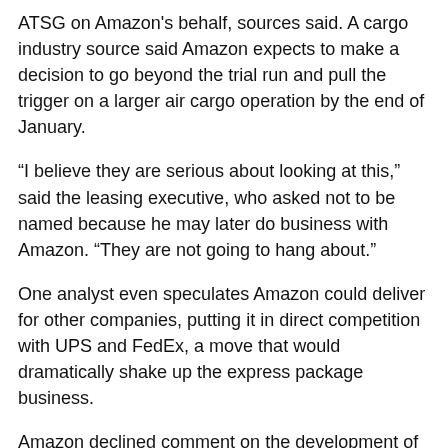ATSG on Amazon's behalf, sources said. A cargo industry source said Amazon expects to make a decision to go beyond the trial run and pull the trigger on a larger air cargo operation by the end of January.
“I believe they are serious about looking at this,” said the leasing executive, who asked not to be named because he may later do business with Amazon. “They are not going to hang about.”
One analyst even speculates Amazon could deliver for other companies, putting it in direct competition with UPS and FedEx, a move that would dramatically shake up the express package business.
Amazon declined comment on the development of an air cargo operation.
The online news site Motherboard reported last month on the Wilmington trial.
Right now, the ATSG trial at Wilmington is limited. CEO Joe